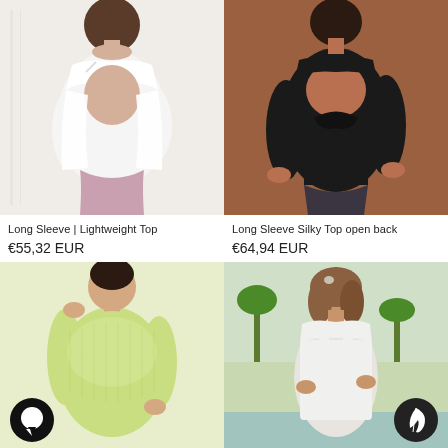[Figure (photo): Woman showing back of white open-back draped short-sleeve top with pink leggings, in a white studio setting]
[Figure (photo): Woman showing back of black open-back twisted long-sleeve silky top with dark grey leggings]
Long Sleeve | Lightweight Top
Long Sleeve Silky Top open back
€55,32 EUR
€64,94 EUR
[Figure (photo): Woman wearing a sheer light yellow-green long-sleeve top, with a chat bubble icon overlay in bottom left]
[Figure (photo): Woman in a white sleeveless top/tank near a pool with palm trees, with a feather icon overlay in bottom right]